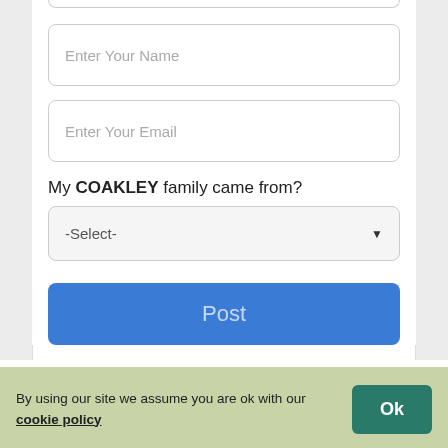[Figure (screenshot): Partial form input box at top of page, showing cut-off rounded rectangle input field]
Enter Your Name
Enter Your Email
My COAKLEY family came from?
-Select-
Post
By using our site we assume you are ok with our cookie policy
Ok
Email me when someone replies